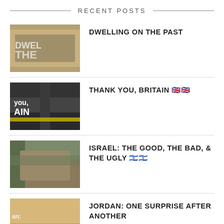RECENT POSTS
DWELLING ON THE PAST
THANK YOU, BRITAIN 🇬🇧
ISRAEL: THE GOOD, THE BAD, & THE UGLY 🇮🇱
JORDAN: ONE SURPRISE AFTER ANOTHER
BARCELONA IS FOR ARCHITECTURE LOVERS